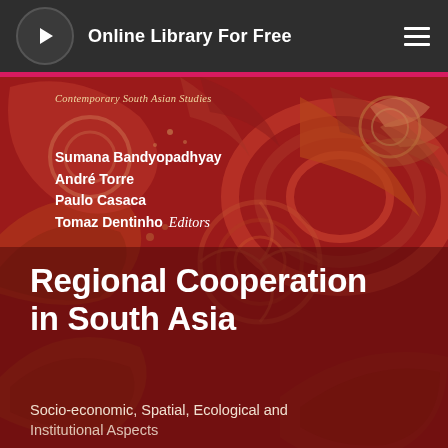Online Library For Free
[Figure (photo): Book cover for 'Regional Cooperation in South Asia' with decorative red and gold mandala/paisley pattern background. Series: Contemporary South Asian Studies. Editors: Sumana Bandyopadhyay, André Torre, Paulo Casaca, Tomaz Dentinho. Subtitle: Socio-economic, Spatial, Ecological and Institutional Aspects.]
Regional Cooperation in South Asia
Contemporary South Asian Studies
Sumana Bandyopadhyay
André Torre
Paulo Casaca
Tomaz Dentinho  Editors
Socio-economic, Spatial, Ecological and Institutional Aspects